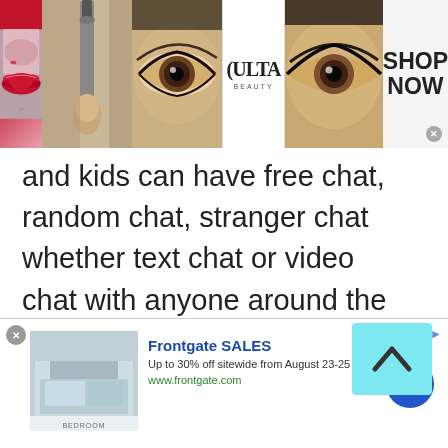[Figure (photo): Top banner advertisement for Ulta Beauty with makeup photos (red lips, makeup brush, eye with dramatic makeup), Ulta Beauty logo, eye close-up, and 'SHOP NOW' call to action with close button]
and kids can have free chat, random chat, stranger chat whether text chat or video chat with anyone around the globe. Get yourself away from Monday blues and find love and laughter with chat in Switzerland and make new friends. Talk to
[Figure (other): Light blue scroll-up button with upward caret/chevron arrow]
[Figure (other): Frontgate SALES advertisement with bedroom image thumbnail, text 'Frontgate SALES', 'Up to 30% off sitewide from August 23-25', 'www.frontgate.com', blue circular arrow button, close X button and info arrow]